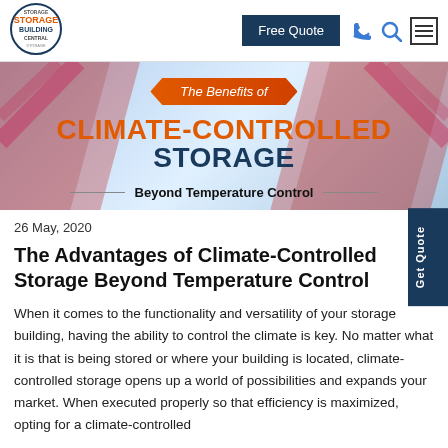[Figure (logo): Storage Building Central logo - circular badge with orange text]
Free Quote
[Figure (other): Phone icon, search icon, hamburger menu icon in nav bar]
[Figure (infographic): Hero banner: 'The Benefits of CLIMATE-CONTROLLED STORAGE Beyond Temperature Control' on blue/red background]
Get Quote
26 May, 2020
The Advantages of Climate-Controlled Storage Beyond Temperature Control
When it comes to the functionality and versatility of your storage building, having the ability to control the climate is key. No matter what it is that is being stored or where your building is located, climate-controlled storage opens up a world of possibilities and expands your market. When executed properly so that efficiency is maximized, opting for a climate-controlled